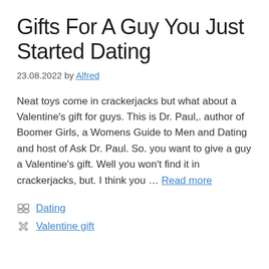Gifts For A Guy You Just Started Dating
23.08.2022 by Alfred
Neat toys come in crackerjacks but what about a Valentine's gift for guys. This is Dr. Paul,. author of Boomer Girls, a Womens Guide to Men and Dating and host of Ask Dr. Paul. So. you want to give a guy a Valentine's gift. Well you won't find it in crackerjacks, but. I think you … Read more
Dating
Valentine gift